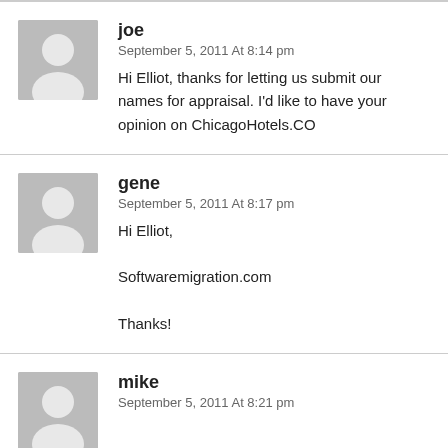joe
September 5, 2011 At 8:14 pm
Hi Elliot, thanks for letting us submit our names for appraisal. I'd like to have your opinion on ChicagoHotels.CO
gene
September 5, 2011 At 8:17 pm
Hi Elliot,

Softwaremigration.com

Thanks!
mike
September 5, 2011 At 8:21 pm